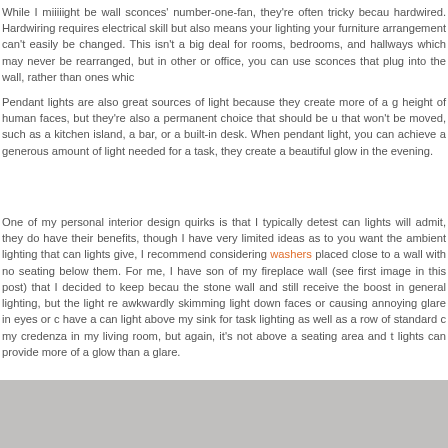While I miiiiight be wall sconces' number-one-fan, they're often tricky because they're hardwired. Hardwiring requires electrical skill but also means your lighting placement and your furniture arrangement can't easily be changed. This isn't a big deal for dining rooms, bedrooms, and hallways which may never be rearranged, but in other spaces like or office, you can use sconces that plug into the wall, rather than ones which
Pendant lights are also great sources of light because they create more of a glow at the height of human faces, but they're also a permanent choice that should be used over areas that won't be moved, such as a kitchen island, a bar, or a built-in desk. When you use a pendant light, you can achieve a generous amount of light needed for a task, but also they create a beautiful glow in the evening.
One of my personal interior design quirks is that I typically detest can lights, though I will admit, they do have their benefits, though I have very limited ideas as to their use. If you want the ambient lighting that can lights give, I recommend considering wall washers placed close to a wall with no seating below them. For me, I have some on the left of my fireplace wall (see first image in this post) that I decided to keep because they graze the stone wall and still receive the boost in general lighting, but the light reads as awkwardly skimming light down faces or causing annoying glare in eyes or d I also have a can light above my sink for task lighting as well as a row of standard c above my credenza in my living room, but again, it's not above a seating area and the can lights can provide more of a glow than a glare.
[Figure (photo): Gray/taupe colored photo or image section at the bottom of the page]